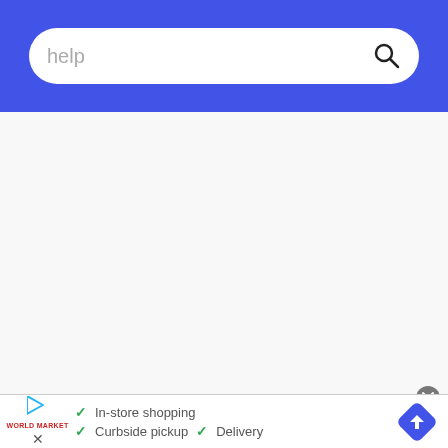[Figure (screenshot): Search bar with text 'help' and magnifying glass icon on blue background]
[Figure (screenshot): Large white/light gray empty content area]
[Figure (screenshot): Advertisement banner at bottom showing World Market store features: In-store shopping, Curbside pickup, Delivery with checkmarks, a play/info icon, World Market logo text, a close X button, and a blue navigation diamond arrow icon]